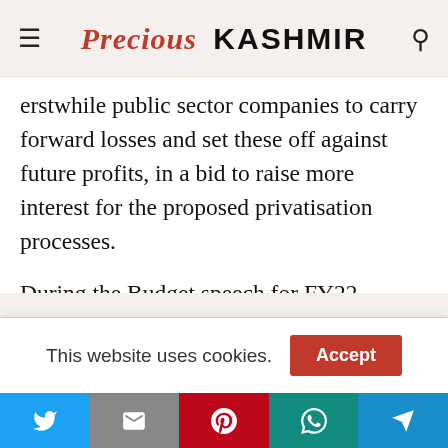Precious Kashmir
erstwhile public sector companies to carry forward losses and set these off against future profits, in a bid to raise more interest for the proposed privatisation processes.
During the Budget speech for FY22, Finance Minister Nirmala Sitharaman had said that all the proposed privatisation process would be completed by the end of the fiscal, including the much-delayed strategic disinvestment of Air India.
This website uses cookies.  Accept
[Figure (other): Social sharing bar with Twitter, Gmail, Pinterest, WhatsApp, and share icons]